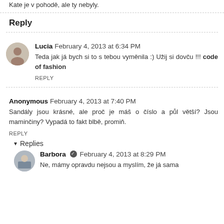Kate je v pohodě, ale ty nebyly.
Reply
Lucia  February 4, 2013 at 6:34 PM
Teda jak já bych si to s tebou vyměnila :) Užij si dovču !!! code of fashion
REPLY
Anonymous  February 4, 2013 at 7:40 PM
Sandály jsou krásné, ale proč je máš o číslo a půl větší? Jsou maminčiny? Vypadá to fakt blbě, promiň.
REPLY
Replies
Barbora ✔  February 4, 2013 at 8:29 PM
Ne, mámy opravdu nejsou a myslím, že já sama